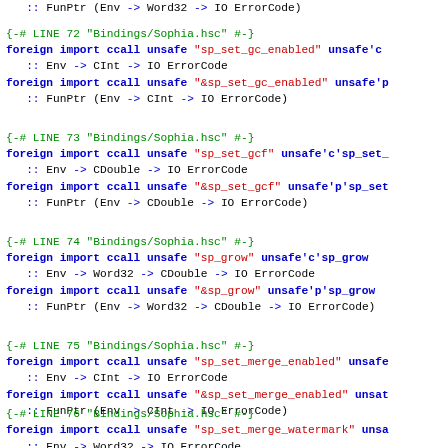:: FunPtr (Env -> Word32 -> IO ErrorCode)
{-# LINE 72 "Bindings/Sophia.hsc" #-}
foreign import ccall unsafe "sp_set_gc_enabled" unsafe'c
  :: Env -> CInt -> IO ErrorCode
foreign import ccall unsafe "&sp_set_gc_enabled" unsafe'p
  :: FunPtr (Env -> CInt -> IO ErrorCode)
{-# LINE 73 "Bindings/Sophia.hsc" #-}
foreign import ccall unsafe "sp_set_gcf" unsafe'c'sp_set_
  :: Env -> CDouble -> IO ErrorCode
foreign import ccall unsafe "&sp_set_gcf" unsafe'p'sp_set
  :: FunPtr (Env -> CDouble -> IO ErrorCode)
{-# LINE 74 "Bindings/Sophia.hsc" #-}
foreign import ccall unsafe "sp_grow" unsafe'c'sp_grow
  :: Env -> Word32 -> CDouble -> IO ErrorCode
foreign import ccall unsafe "&sp_grow" unsafe'p'sp_grow
  :: FunPtr (Env -> Word32 -> CDouble -> IO ErrorCode)
{-# LINE 75 "Bindings/Sophia.hsc" #-}
foreign import ccall unsafe "sp_set_merge_enabled" unsafe
  :: Env -> CInt -> IO ErrorCode
foreign import ccall unsafe "&sp_set_merge_enabled" unsat
  :: FunPtr (Env -> CInt -> IO ErrorCode)
{-# LINE 76 "Bindings/Sophia.hsc" #-}
foreign import ccall unsafe "sp_set_merge_watermark" unsa
  :: Env -> Word32 -> IO ErrorCode
foreign import ccall unsafe "&sp_set_merge_watermark" uns